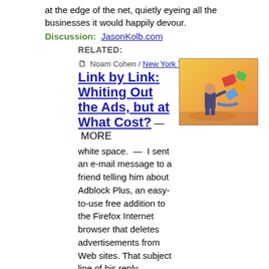at the edge of the net, quietly eyeing all the businesses it would happily devour.
Discussion: JasonKolb.com
RELATED:
📄 Noam Cohen / New York Times: Link by Link: Whiting Out the Ads, but at What Cost? — MORE white space. — I sent an e-mail message to a friend telling him about Adblock Plus, an easy-to-use free addition to the Firefox Internet browser that deletes advertisements from Web sites. That subject line of his reply summed it up quite nicely.
[Figure (illustration): Illustration of a man tossing colorful papers/documents into the air against an orange/yellow background]
Discussion: HipMojo.com, Mark Evans and Gadgetopia
📄 BBC: Mobiles to
[Figure (photo): Dark photo, partially visible, appears to show a person or face]